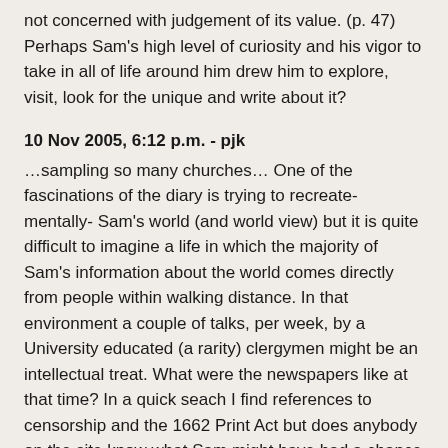not concerned with judgement of its value. (p. 47) Perhaps Sam's high level of curiosity and his vigor to take in all of life around him drew him to explore, visit, look for the unique and write about it?
10 Nov 2005, 6:12 p.m. - pjk
…sampling so many churches… One of the fascinations of the diary is trying to recreate-mentally- Sam's world (and world view) but it is quite difficult to imagine a life in which the majority of Sam's information about the world comes directly from people within walking distance. In that environment a couple of talks, per week, by a University educated (a rarity) clergymen might be an intellectual treat. What were the newspapers like at that time? In a quick seach I find references to censorship and the 1662 Print Act but does anybody on the site know what Sam might have had a chance to read?
10 Nov 2005, 7:49 p.m. - CGS
Mercurius Publicus [p79,p81 Restoration London]and